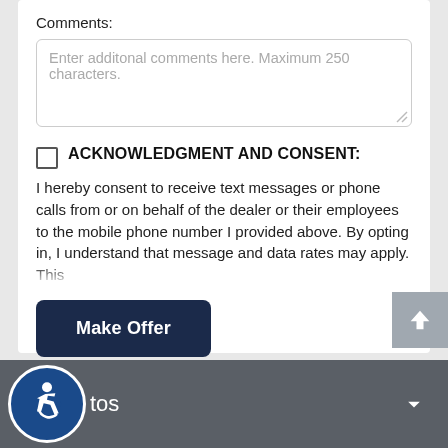Comments:
Enter additonal comments here. Maximum 250 characters.
ACKNOWLEDGMENT AND CONSENT: I hereby consent to receive text messages or phone calls from or on behalf of the dealer or their employees to the mobile phone number I provided above. By opting in, I understand that message and data rates may apply. This
Make Offer
[Figure (screenshot): Accessibility icon (wheelchair user in circle) with 'tos' text and dropdown arrow in dark gray bottom bar]